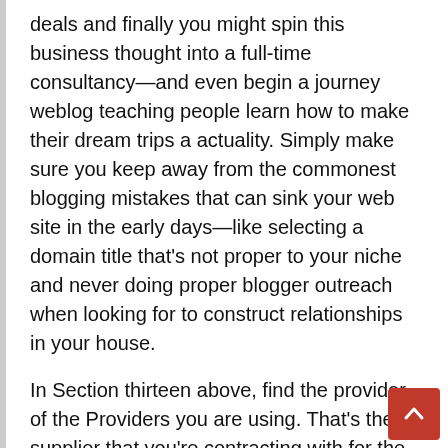deals and finally you might spin this business thought into a full-time consultancy—and even begin a journey weblog teaching people learn how to make their dream trips a actuality. Simply make sure you keep away from the commonest blogging mistakes that can sink your web site in the early days—like selecting a domain title that's not proper to your niche and never doing proper blogger outreach when looking for to construct relationships in your house.
In Section thirteen above, find the provider of the Providers you are using. That's the supplier that you're contracting with for the Companies. The selection of regulation, the placement for resolving disputes, certain outlined phrases